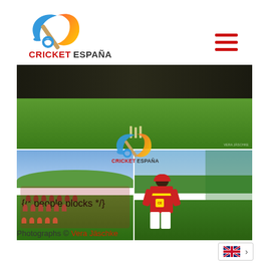[Figure (logo): Cricket España logo with cricket bat and ball design in blue, orange and yellow gradient, with text CRICKET ESPAÑA below]
[Figure (photo): Hamburger menu icon with three red horizontal lines]
[Figure (photo): Three cricket photos: top wide photo showing people on green grass with trophies; bottom-left showing a team group photo in red uniforms outdoors; bottom-right showing a player in red/yellow Spain jersey from behind at cricket nets. Cricket España logo overlay in center.]
Photographs © Vera Jäschke
[Figure (other): UK/GB flag icon with language selector arrow]